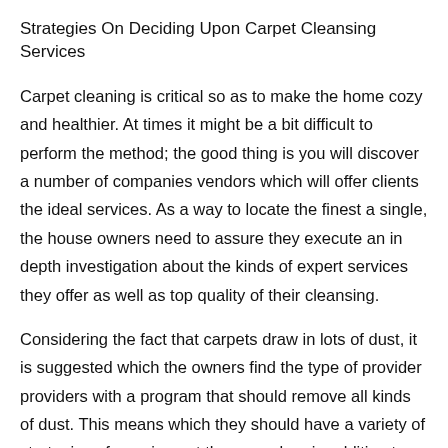Strategies On Deciding Upon Carpet Cleansing Services
Carpet cleaning is critical so as to make the home cozy and healthier. At times it might be a bit difficult to perform the method; the good thing is you will discover a number of companies vendors which will offer clients the ideal services. As a way to locate the finest a single, the house owners need to assure they execute an in depth investigation about the kinds of expert services they offer as well as top quality of their cleansing.
Considering the fact that carpets draw in lots of dust, it is suggested which the owners find the type of provider providers with a program that should remove all kinds of dust. This means which they should have a variety of strategies of carrying out the procedure in addition to the variety of detergent and resources. The most effective